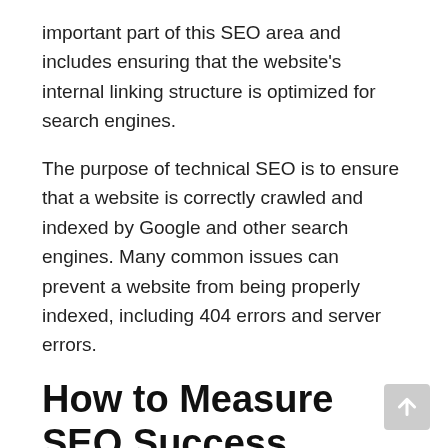important part of this SEO area and includes ensuring that the website's internal linking structure is optimized for search engines.
The purpose of technical SEO is to ensure that a website is correctly crawled and indexed by Google and other search engines. Many common issues can prevent a website from being properly indexed, including 404 errors and server errors.
How to Measure SEO Success
Measuring SEO success can be tricky, but it's important to do so to track your progress and determine what tactics are working and which ones need improvement. There are several factors you can consider when measuring SEO success, including website traffic, organic search engine